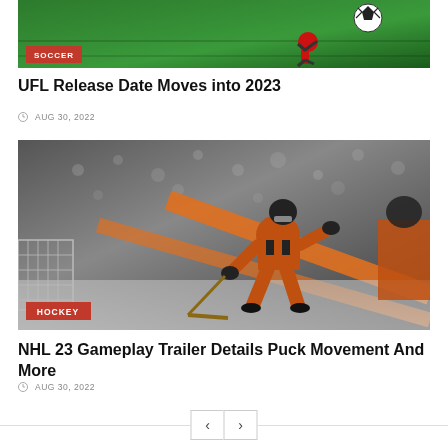[Figure (photo): Soccer player kicking a ball on green field with SOCCER category badge]
UFL Release Date Moves into 2023
AUG 30, 2022
[Figure (photo): Hockey player in orange and black uniform on ice with HOCKEY category badge]
NHL 23 Gameplay Trailer Details Puck Movement And More
AUG 30, 2022